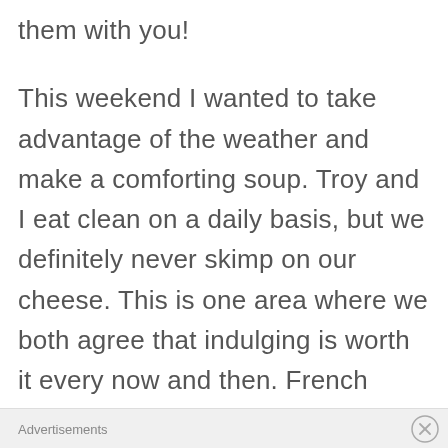them with you!
This weekend I wanted to take advantage of the weather and make a comforting soup. Troy and I eat clean on a daily basis, but we definitely never skimp on our cheese. This is one area where we both agree that indulging is worth it every now and then. French onion soup is
Advertisements